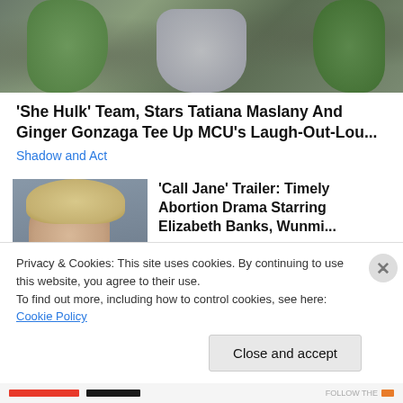[Figure (photo): Screenshot of a webpage showing two green hulk-like hands/figures and a person in the center, from She-Hulk promotional content]
'She Hulk' Team, Stars Tatiana Maslany And Ginger Gonzaga Tee Up MCU's Laugh-Out-Lou...
Shadow and Act
[Figure (photo): Thumbnail image of a blonde woman looking distressed, from 'Call Jane' movie]
'Call Jane' Trailer: Timely Abortion Drama Starring Elizabeth Banks, Wunmi...
Shadow and Act
Privacy & Cookies: This site uses cookies. By continuing to use this website, you agree to their use.
To find out more, including how to control cookies, see here: Cookie Policy
Close and accept